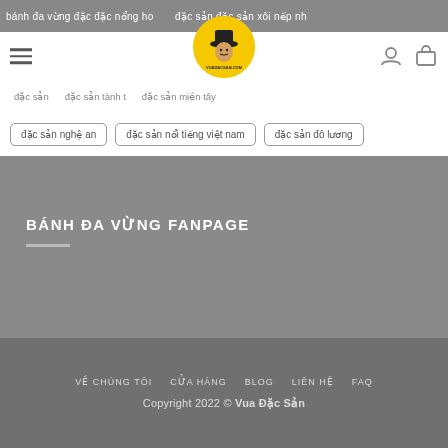bánh đa vừng đặc đặc sản nghệ an đặc sản nổi tiếng việt nam đặc sản đô lương
đặc sản nghệ an
đặc sản nổi tiếng việt nam
đặc sản đô lương
BÁNH ĐA VỪNG FANPAGE
VỀ CHÚNG TÔI   CỬA HÀNG   BLOG   LIÊN HỆ   FAQ
Copyright 2022 © Vua Đặc Sản